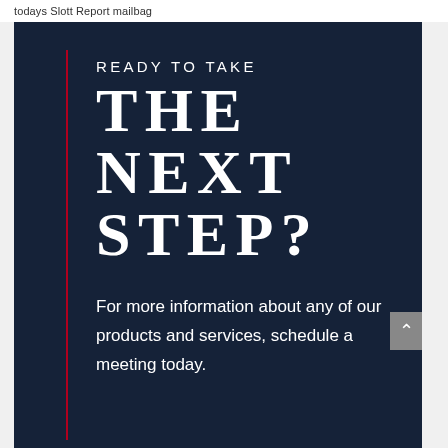todays Slott Report mailbag
READY TO TAKE THE NEXT STEP?
For more information about any of our products and services, schedule a meeting today.